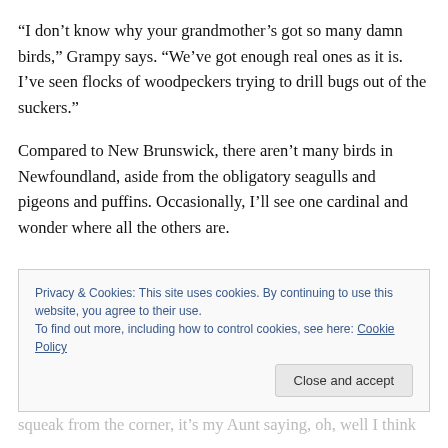“I don’t know why your grandmother’s got so many damn birds,” Grampy says. “We’ve got enough real ones as it is. I’ve seen flocks of woodpeckers trying to drill bugs out of the suckers.”
Compared to New Brunswick, there aren’t many birds in Newfoundland, aside from the obligatory seagulls and pigeons and puffins. Occasionally, I’ll see one cardinal and wonder where all the others are.
Privacy & Cookies: This site uses cookies. By continuing to use this website, you agree to their use. To find out more, including how to control cookies, see here: Cookie Policy
Close and accept
squeak from the corner, it’s my Aunt saying, oh, well I think